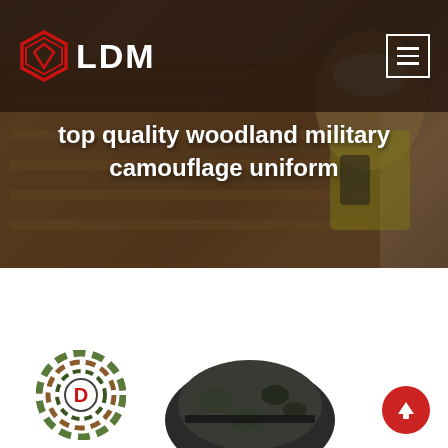[Figure (screenshot): Hero section showing warehouse worker in yellow vest scanning boxes, with dark overlay and LDM logo in header]
top quality woodland military camouflage uniform
[Figure (logo): Deekon brand logo: circular camouflage-pattern icon with letter D, red DEEKON text below]
[Figure (photo): Partial product photo of woodland military camouflage uniform/helmet visible at bottom center]
[Figure (infographic): Red circular up-arrow navigation button at bottom right]